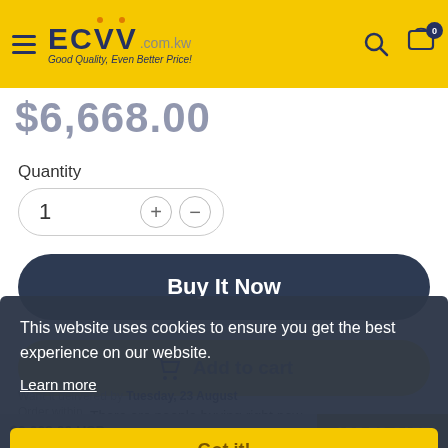[Figure (screenshot): ECVV website header with yellow background, hamburger menu, ECVV logo, search and cart icons]
$6,668.00
Quantity
1
Buy It Now
Add to cart
There are people buying right now.
Want it delivered by Tuesday, 23 August
Order within
This website uses cookies to ensure you get the best experience on our website.
Learn more
Got it!
$6,668.00 USD
ADD TO CART